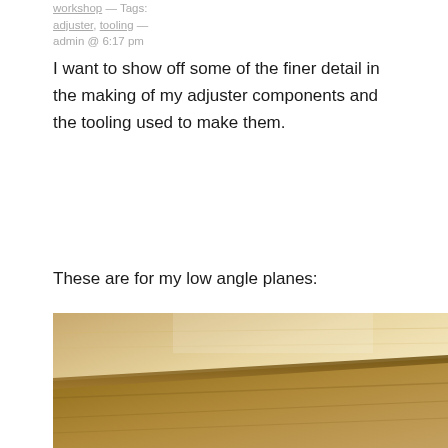workshop — Tags: adjuster, tooling — admin @ 6:17 pm
I want to show off some of the finer detail in the making of my adjuster components and the tooling used to make them.
These are for my low angle planes:
[Figure (photo): Close-up photo of a wooden plane or board surface, showing warm golden-brown tones with a diagonal edge line across the frame.]